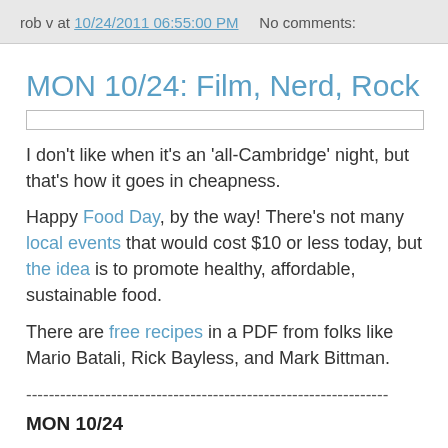rob v at 10/24/2011 06:55:00 PM   No comments:
MON 10/24: Film, Nerd, Rock
[Figure (other): Horizontal input/search bar element]
I don't like when it's an 'all-Cambridge' night, but that's how it goes in cheapness.
Happy Food Day, by the way! There's not many local events that would cost $10 or less today, but the idea is to promote healthy, affordable, sustainable food.
There are free recipes in a PDF from folks like Mario Batali, Rick Bayless, and Mark Bittman.
----------------------------------------------------------------
MON 10/24